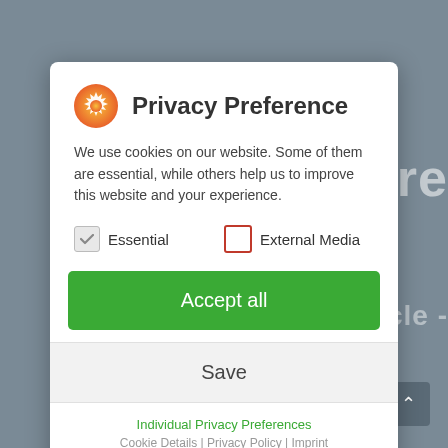[Figure (screenshot): Blurred website background with modal dialog overlay]
Privacy Preference
We use cookies on our website. Some of them are essential, while others help us to improve this website and your experience.
Essential (checked)
External Media (unchecked)
Accept all
Save
Individual Privacy Preferences
Cookie Details | Privacy Policy | Imprint